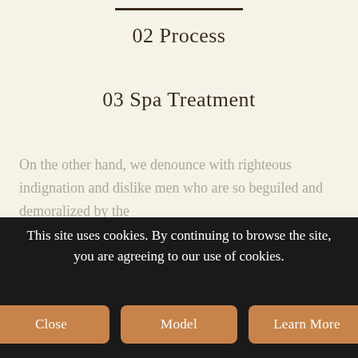02 Process
03 Spa Treatment
On the other hand, we denounce with righteous indignation and dislike men who are so beguiled and demoralized by the
This site uses cookies. By continuing to browse the site, you are agreeing to our use of cookies.
Close | Model | Learn More